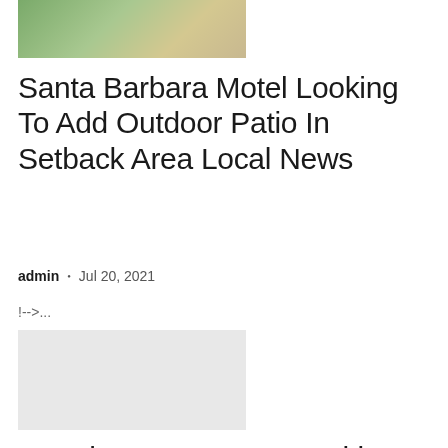[Figure (photo): Top portion of an outdoor garden or landscape photo showing plants and a pathway]
Santa Barbara Motel Looking To Add Outdoor Patio In Setback Area Local News
admin • Jul 20, 2021
!-->...
[Figure (photo): Light grey placeholder image for a second article]
Wood Street Secure Parking